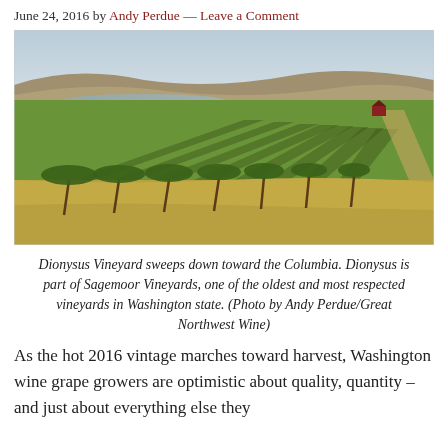June 24, 2016 by Andy Perdue — Leave a Comment
[Figure (photo): Aerial/ground-level view of Dionysus Vineyard rows sweeping down toward the Columbia River, with rolling hills and water visible in the background.]
Dionysus Vineyard sweeps down toward the Columbia. Dionysus is part of Sagemoor Vineyards, one of the oldest and most respected vineyards in Washington state. (Photo by Andy Perdue/Great Northwest Wine)
As the hot 2016 vintage marches toward harvest, Washington wine grape growers are optimistic about quality, quantity – and just about everything else they